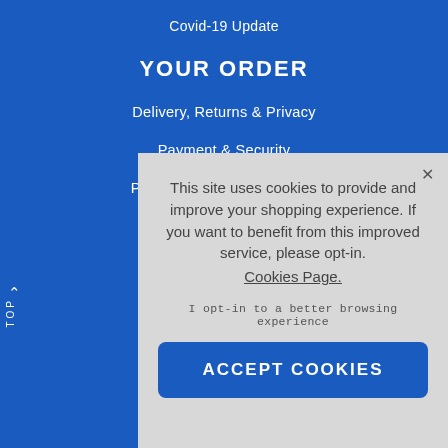Covid-19 Update
YOUR ORDER
Delivery, Returns & Privacy
Payment & Security
Printing Terms & Conditions
Quotation Form
International Deliveries
↑ TOP
This site uses cookies to provide and improve your shopping experience. If you want to benefit from this improved service, please opt-in. Cookies Page.
I opt-in to a better browsing experience
ACCEPT COOKIES